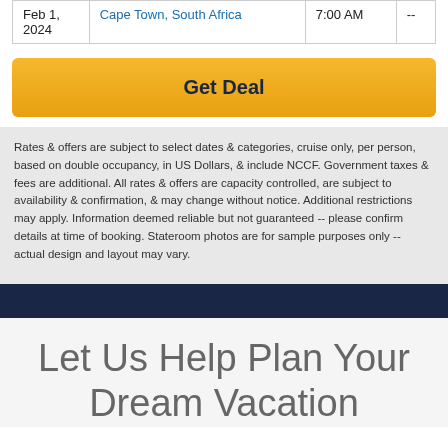| Feb 1, 2024 | Cape Town, South Africa | 7:00 AM | -- |
Get Deal
Rates & offers are subject to select dates & categories, cruise only, per person, based on double occupancy, in US Dollars, & include NCCF. Government taxes & fees are additional. All rates & offers are capacity controlled, are subject to availability & confirmation, & may change without notice. Additional restrictions may apply. Information deemed reliable but not guaranteed -- please confirm details at time of booking. Stateroom photos are for sample purposes only -- actual design and layout may vary.
Let Us Help Plan Your Dream Vacation